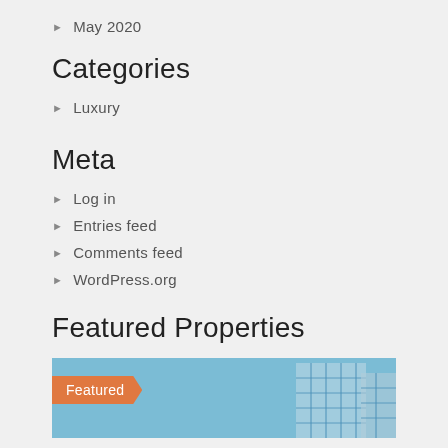May 2020
Categories
Luxury
Meta
Log in
Entries feed
Comments feed
WordPress.org
Featured Properties
[Figure (photo): Featured property image with orange 'Featured' badge and building/architecture photo]